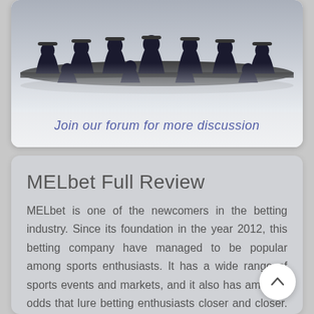[Figure (photo): Silhouettes of people sitting around a conference table, with text overlay reading 'Join our forum for more discussion']
MELbet Full Review
MELbet is one of the newcomers in the betting industry. Since its foundation in the year 2012, this betting company have managed to be popular among sports enthusiasts. It has a wide range of sports events and markets, and it also has amazing odds that lure betting enthusiasts closer and closer. It also offers a variety of payment methods, making it a very